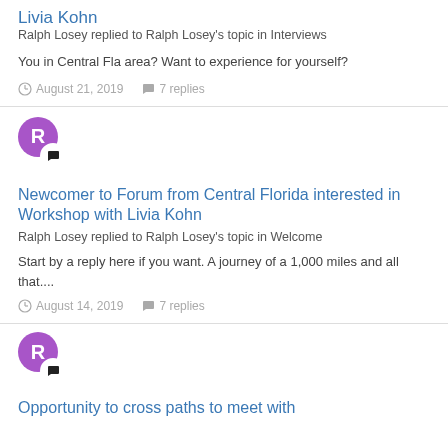Livia Kohn
Ralph Losey replied to Ralph Losey's topic in Interviews
You in Central Fla area? Want to experience for yourself?
August 21, 2019   7 replies
[Figure (illustration): Purple avatar circle with letter R and a chat bubble icon overlay]
Newcomer to Forum from Central Florida interested in Workshop with Livia Kohn
Ralph Losey replied to Ralph Losey's topic in Welcome
Start by a reply here if you want. A journey of a 1,000 miles and all that....
August 14, 2019   7 replies
[Figure (illustration): Purple avatar circle with letter R and a chat bubble icon overlay]
Opportunity to cross paths to meet with